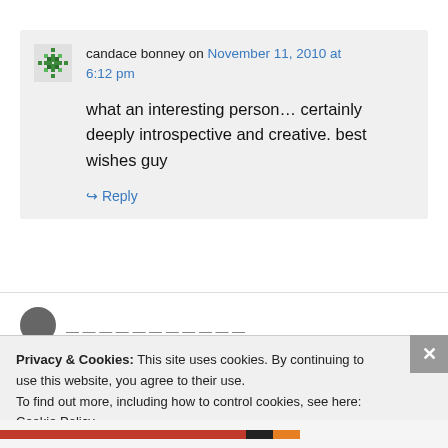candace bonney on November 11, 2010 at 6:12 pm
what an interesting person… certainly deeply introspective and creative. best wishes guy
↳ Reply
Privacy & Cookies: This site uses cookies. By continuing to use this website, you agree to their use. To find out more, including how to control cookies, see here: Cookie Policy
Close and accept